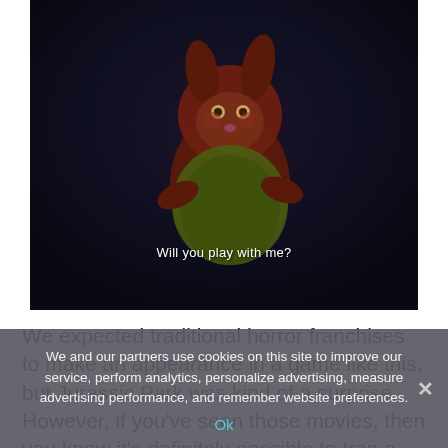[Figure (screenshot): A dark, atmospheric screenshot from a video game showing a creepy stuffed rabbit toy with a subtitle reading 'Will you play with me?' The toy appears worn and eerie, set against a dark, moody background.]
We expected traditional horror franchises to make an appearance in a game like this, but Jurassic Park was kind of a surprise. However, if you've seen those movies, then you know it's definitely possible to trap a monster in a freeze...
We and our partners use cookies on this site to improve our service, perform analytics, personalize advertising, measure advertising performance, and remember website preferences.
Ok